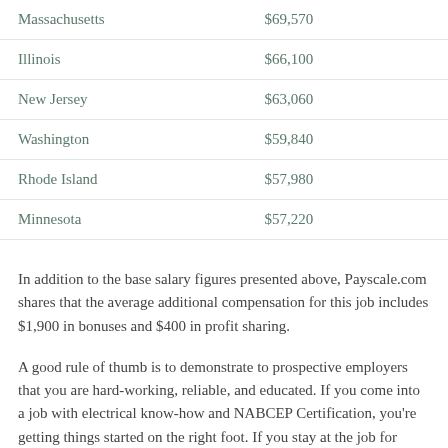| State | Salary |
| --- | --- |
| Massachusetts | $69,570 |
| Illinois | $66,100 |
| New Jersey | $63,060 |
| Washington | $59,840 |
| Rhode Island | $57,980 |
| Minnesota | $57,220 |
In addition to the base salary figures presented above, Payscale.com shares that the average additional compensation for this job includes $1,900 in bonuses and $400 in profit sharing.
A good rule of thumb is to demonstrate to prospective employers that you are hard-working, reliable, and educated. If you come into a job with electrical know-how and NABCEP Certification, you're getting things started on the right foot. If you stay at the job for more than...